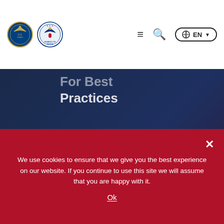[Figure (logo): US State Department seal and Rewards for Justice seal logos in header]
Navigation header with hamburger menu, search icon, and EN language selector
Practices
NORTH KOREA
CYBER
North Korea
Critical Infrastructure
We use cookies to ensure that we give you the best experience on our website. If you continue to use this site we will assume that you are happy with it.
Ok